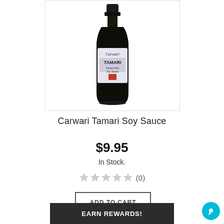[Figure (photo): A bottle of Carwari Tamari Soy Sauce with a black cap and a white/purple label showing the brand name Carwari and product name TAMARI, on a white background inside a bordered image box.]
Carwari Tamari Soy Sauce
$9.95
In Stock.
★★★★★ (0)
ADD TO CART
EARN REWARDS!